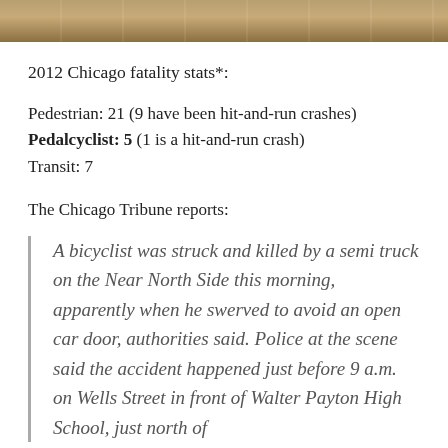[Figure (photo): Top strip photo of a road or gymnasium floor, tan/brown tones]
2012 Chicago fatality stats*:
Pedestrian: 21 (9 have been hit-and-run crashes)
Pedalcyclist: 5 (1 is a hit-and-run crash)
Transit: 7
The Chicago Tribune reports:
A bicyclist was struck and killed by a semi truck on the Near North Side this morning, apparently when he swerved to avoid an open car door, authorities said. Police at the scene said the accident happened just before 9 a.m. on Wells Street in front of Walter Payton High School, just north of